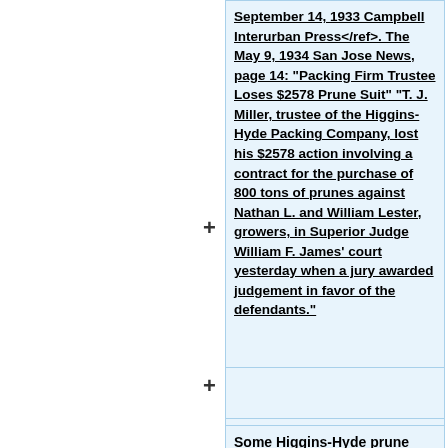September 14, 1933 Campbell Interurban Press</ref>. The May 9, 1934 San Jose News, page 14: "Packing Firm Trustee Loses $2578 Prune Suit"  "T. J. Miller, trustee of the Higgins-Hyde Packing Company, lost his $2578 action involving a contract for the purchase of 800 tons of prunes against Nathan L. and William Lester, growers, in Superior Judge William F. James' court yesterday when a jury awarded judgement in favor of the defendants."
Some Higgins-Hyde prune boxes still exist; one of their